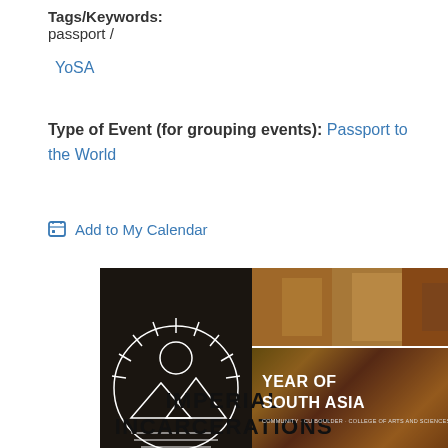Tags/Keywords:
passport / YoSA
Type of Event (for grouping events): Passport to the World
Add to My Calendar
[Figure (photo): Three images side by side: left - a circular passport/travel logo with mountains and sun rays on dark background; center top - a blurry colorful photo; center bottom - Year of South Asia logo with text; right - map of India in sparkle/outline style on dark blue background]
IMPERIAL INCARCERATIONS